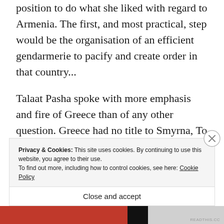position to do what she liked with regard to Armenia. The first, and most practical, step would be the organisation of an efficient gendarmerie to pacify and create order in that country...
Talaat Pasha spoke with more emphasis and fire of Greece than of any other question. Greece had no title to Smyrna, To give Smyrna to Greece was in contradiction to all that we had promised, and was a reward to her for the massacres that had taken
Privacy & Cookies: This site uses cookies. By continuing to use this website, you agree to their use.
To find out more, including how to control cookies, see here: Cookie Policy
Close and accept